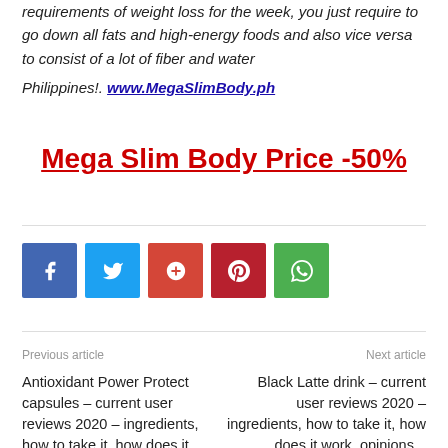requirements of weight loss for the week, you just require to go down all fats and high-energy foods and also vice versa to consist of a lot of fiber and water Philippines!. www.MegaSlimBody.ph
Mega Slim Body Price -50%
[Figure (infographic): Social share buttons: Facebook, Twitter, Google+, Pinterest, WhatsApp]
Previous article
Next article
Antioxidant Power Protect capsules – current user reviews 2020 – ingredients, how to take it, how does it...
Black Latte drink – current user reviews 2020 – ingredients, how to take it, how does it work, opinions...